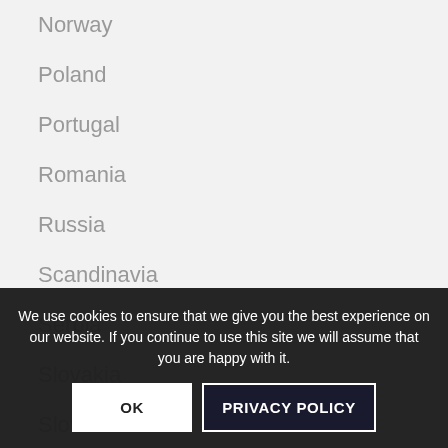Norway
Poland
Portugal
Romania
Russia
Scandinavia
Serbia
Slovakia
Slovenia
Spain
Sweden
Switzerland
Turkey
United Kingdom
We use cookies to ensure that we give you the best experience on our website. If you continue to use this site we will assume that you are happy with it.
OK | PRIVACY POLICY